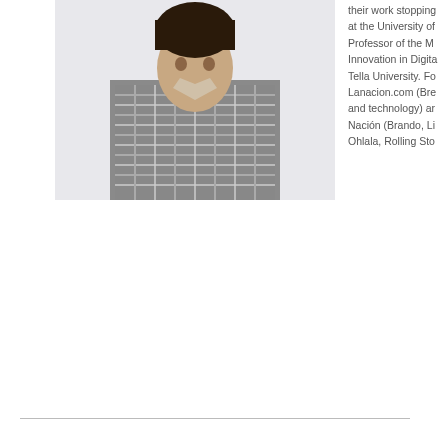[Figure (photo): Portrait photo of a person wearing a checkered shirt, cropped at the upper body]
their work stopping at the University of Professor of the M Innovation in Digita Tella University. Fo Lanacion.com (Bre and technology) ar Nación (Brando, Li Ohlala, Rolling Sto
[Figure (photo): Partial lower image, appears to be a cropped photograph with light gray/blue tones]